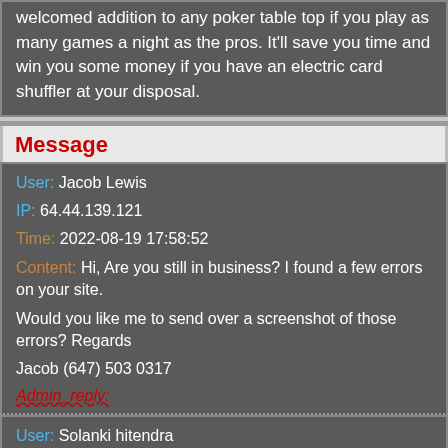welcomed addition to any poker table top if you play as many games a night as the pros. It'll save you time and win you some money if you have an electric card shuffler at your disposal.
Message
User: Jacob Lewis
IP: 64.44.139.121
Time: 2022-08-19 17:58:52
Content: Hi, Are you still in business? I found a few errors on your site. Would you like me to send over a screenshot of those errors? Regards Jacob (647) 503 0317
Admin_reply:
User: Solanki hitendra
IP: 49.34.166.224
Time: 2022-08-03 22:52:44
Content: 1 box 8160815200
Admin_reply: